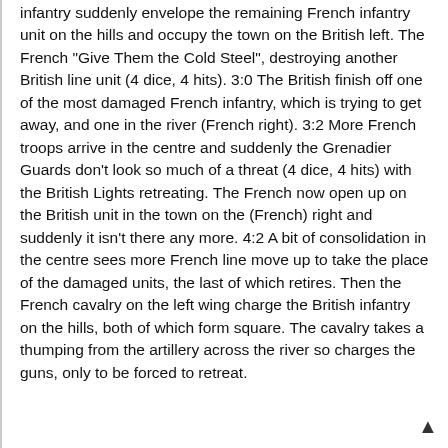infantry suddenly envelope the remaining French infantry unit on the hills and occupy the town on the British left. The French "Give Them the Cold Steel", destroying another British line unit (4 dice, 4 hits). 3:0
The British finish off one of the most damaged French infantry, which is trying to get away, and one in the river (French right). 3:2
More French troops arrive in the centre and suddenly the Grenadier Guards don't look so much of a threat (4 dice, 4 hits) with the British Lights retreating. The French now open up on the British unit in the town on the (French) right and suddenly it isn't there any more. 4:2
A bit of consolidation in the centre sees more French line move up to take the place of the damaged units, the last of which retires. Then the French cavalry on the left wing charge the British infantry on the hills, both of which form square. The cavalry takes a thumping from the artillery across the river so charges the guns, only to be forced to retreat.